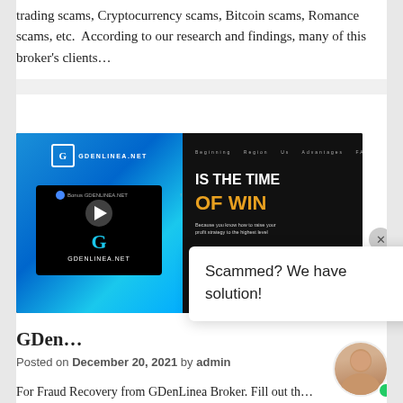trading scams, Cryptocurrency scams, Bitcoin scams, Romance scams, etc.  According to our research and findings, many of this broker's clients...
[Figure (screenshot): Screenshot of GDenLinea.NET broker website showing logo, 'IS THE TIME OF WIN' headline, and a video thumbnail with play button overlaid on a blue gradient background. Website interface visible with navigation menu items.]
Scammed? We have solution!
GDen...
Posted on December 20, 2021 by admin
For Fraud Recovery from GDenLinea Broker. Fill out th...